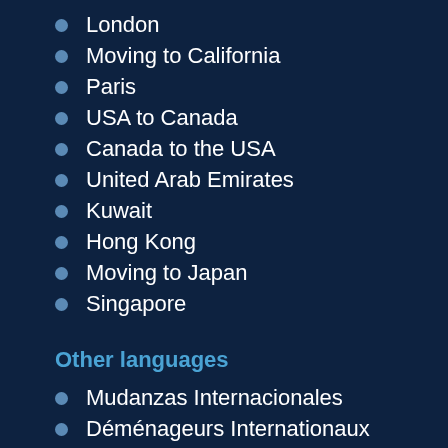London
Moving to California
Paris
USA to Canada
Canada to the USA
United Arab Emirates
Kuwait
Hong Kong
Moving to Japan
Singapore
Other languages
Mudanzas Internacionales
Déménageurs Internationaux
Internationale Umzugsunternehmen
Traslochi internazionali